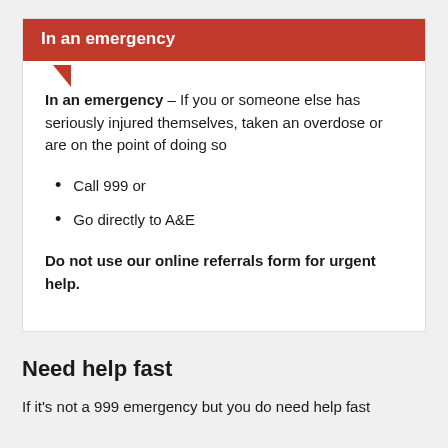In an emergency
In an emergency – If you or someone else has seriously injured themselves, taken an overdose or are on the point of doing so
Call 999 or
Go directly to A&E
Do not use our online referrals form for urgent help.
Need help fast
If it's not a 999 emergency but you do need help fast